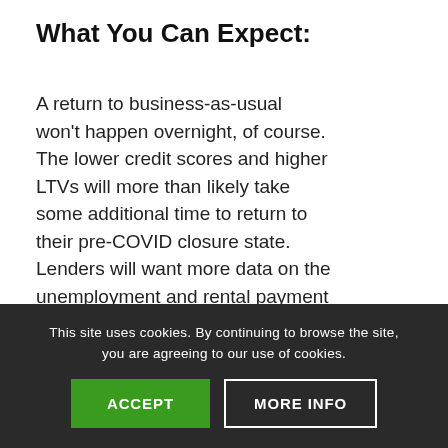What You Can Expect:
A return to business-as-usual won't happen overnight, of course. The lower credit scores and higher LTVs will more than likely take some additional time to return to their pre-COVID closure state. Lenders will want more data on the unemployment and rental payment front before expanding.
This site uses cookies. By continuing to browse the site, you are agreeing to our use of cookies.